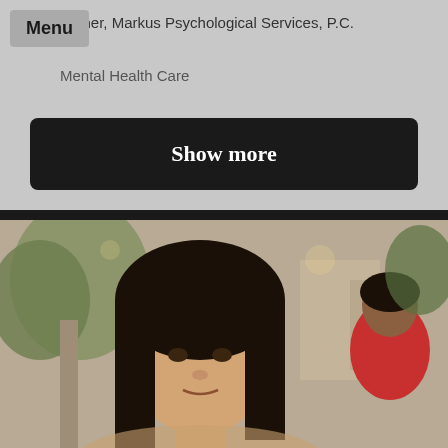Menu
Owner, Markus Psychological Services, P.C.
Mental Health Care
Show more
[Figure (photo): A woman with long dark hair photographed outdoors, another person in a red shirt visible in the background on the right side]